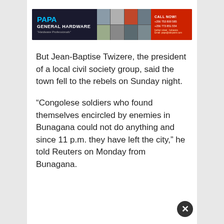[Figure (other): Papa General Hardware advertisement banner with blue and white text on dark background, grid of hardware product images, and red 'CALL NOW' section on right]
But Jean-Baptise Twizere, the president of a local civil society group, said the town fell to the rebels on Sunday night.
“Congolese soldiers who found themselves encircled by enemies in Bunagana could not do anything and since 11 p.m. they have left the city,” he told Reuters on Monday from Bunagana.